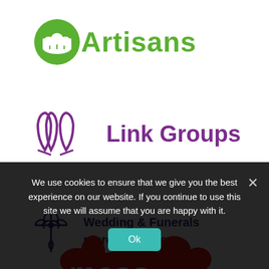[Figure (logo): Artisans logo: green circular icon with a crown/chef hat symbol, followed by bold green text 'Artisans']
[Figure (logo): Link Groups logo: purple outline of two overlapping book/leaf shapes, followed by bold purple text 'Link Groups']
[Figure (logo): Wedding & Funerals logo: dark blue dragonfly/flower decorative illustration, followed by bold navy text 'Wedding & Funerals more info here']
[Figure (logo): Partially visible red splat/mess logo at bottom of white section]
We use cookies to ensure that we give you the best experience on our website. If you continue to use this site we will assume that you are happy with it.